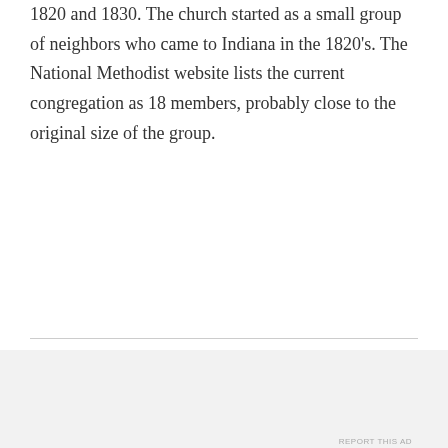1820 and 1830. The church started as a small group of neighbors who came to Indiana in the 1820's. The National Methodist website lists the current congregation as 18 members, probably close to the original size of the group.
Advertisements
[Figure (other): Advertisement banner for a company with a logo consisting of a square and '2', with the tagline 'Fewer meetings, more work.' on a dark navy background.]